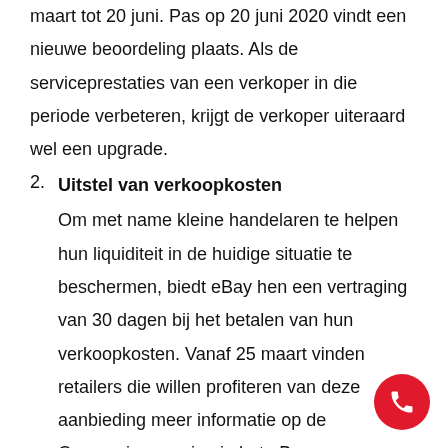maart tot 20 juni. Pas op 20 juni 2020 vindt een nieuwe beoordeling plaats. Als de serviceprestaties van een verkoper in die periode verbeteren, krijgt de verkoper uiteraard wel een upgrade.
Uitstel van verkoopkosten
Om met name kleine handelaren te helpen hun liquiditeit in de huidige situatie te beschermen, biedt eBay hen een vertraging van 30 dagen bij het betalen van hun verkoopkosten. Vanaf 25 maart vinden retailers die willen profiteren van deze aanbieding meer informatie op de Coronavirus-pagina in het eBay-verkopersportaal.
Extra ondersteuning voor eBay-retailers